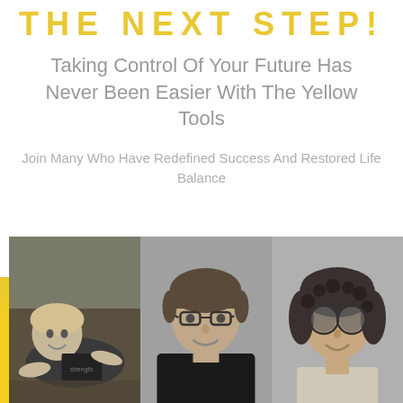THE NEXT STEP!
Taking Control Of Your Future Has Never Been Easier With The Yellow Tools
Join Many Who Have Redefined Success And Restored Life Balance
[Figure (photo): Three black-and-white portrait photos side by side: a woman lying on the ground smiling outdoors, a woman with glasses and short hair smiling, and a young woman wearing sunglasses outdoors.]